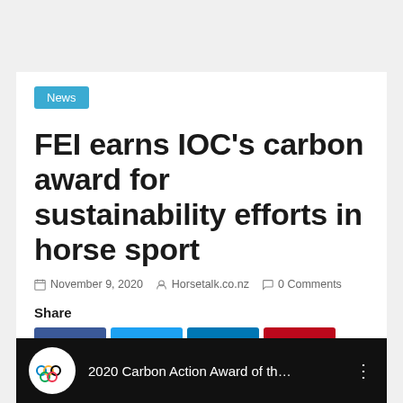News
FEI earns IOC’s carbon award for sustainability efforts in horse sport
November 9, 2020   Horsetalk.co.nz   0 Comments
Share
[Figure (screenshot): Social share buttons: Facebook (blue), Twitter (light blue), LinkedIn (dark blue), Pinterest (red), Reddit (orange), and a generic share button (orange)]
[Figure (screenshot): Video thumbnail with black background, Olympic rings logo on white circle, text '2020 Carbon Action Award of th...' and a vertical three-dot menu icon]